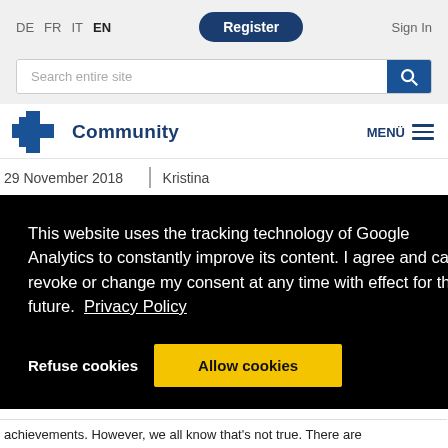DE FR IT EN | Register | Sign In
[Figure (screenshot): Search bar with text 'Search entire site' and blue search button]
[Figure (logo): Hospital plus Community logo with blue cross icon and 'Community' text]
MENÜ
29 November 2018  |  Kristina
This website uses the tracking technology of Google Analytics to constantly improve its content. I agree and can revoke or change my consent at any time with effect for the future.  Privacy Policy
Refuse cookies    Allow cookies
ring –
d
achievements. However, we all know that's not true. There are